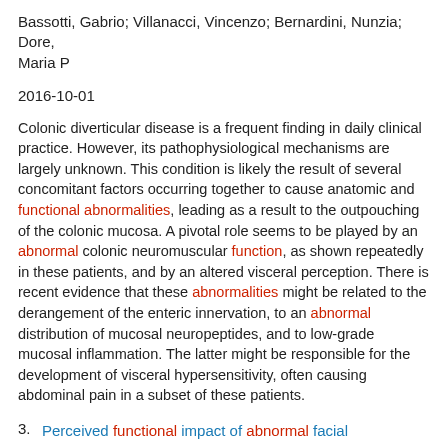Bassotti, Gabrio; Villanacci, Vincenzo; Bernardini, Nunzia; Dore, Maria P
2016-10-01
Colonic diverticular disease is a frequent finding in daily clinical practice. However, its pathophysiological mechanisms are largely unknown. This condition is likely the result of several concomitant factors occurring together to cause anatomic and functional abnormalities, leading as a result to the outpouching of the colonic mucosa. A pivotal role seems to be played by an abnormal colonic neuromuscular function, as shown repeatedly in these patients, and by an altered visceral perception. There is recent evidence that these abnormalities might be related to the derangement of the enteric innervation, to an abnormal distribution of mucosal neuropeptides, and to low-grade mucosal inflammation. The latter might be responsible for the development of visceral hypersensitivity, often causing abdominal pain in a subset of these patients.
3. Perceived functional impact of abnormal facial appearance.
Science.gov (United States)